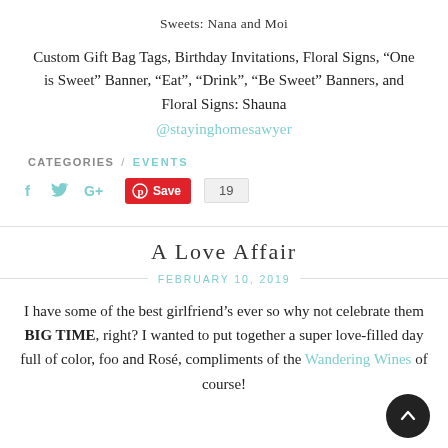Sweets: Nana and Moi
Custom Gift Bag Tags, Birthday Invitations, Floral Signs, “One is Sweet” Banner, “Eat”, “Drink”, “Be Sweet” Banners, and Floral Signs: Shauna
@stayinghomesawyer
CATEGORIES / EVENTS
[Figure (infographic): Social share buttons: Facebook f icon, Twitter bird icon, Google+ icon, Pinterest Save button with count 19]
A Love Affair
FEBRUARY 10, 2019
I have some of the best girlfriend’s ever so why not celebrate them BIG TIME, right? I wanted to put together a super love-filled day full of color, foo and Rosé, compliments of the Wandering Wines of course!